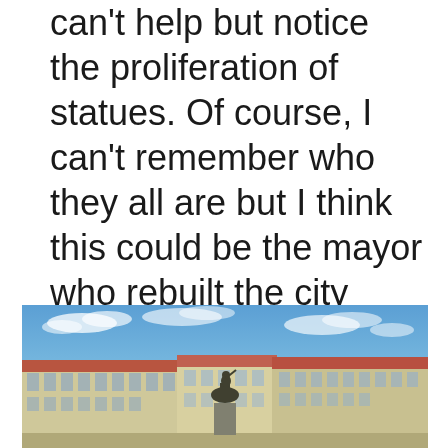can't help but notice the proliferation of statues. Of course, I can't remember who they all are but I think this could be the mayor who rebuilt the city after the massive earthquake in 1755. But then, it could be someone else entirely!
[Figure (photo): Outdoor plaza photograph showing a large equestrian statue on a pedestal in the center, with colorful multi-story European-style buildings with terracotta roofs in the background, under a blue sky with scattered white clouds. Likely Lisbon, Portugal.]